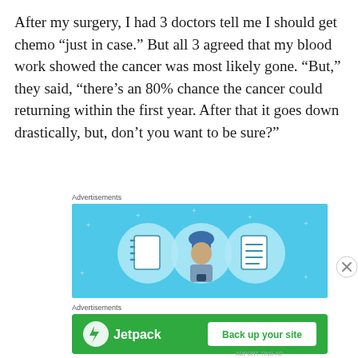After my surgery, I had 3 doctors tell me I should get chemo “just in case.” But all 3 agreed that my blood work showed the cancer was most likely gone. “But,” they said, “there’s an 80% chance the cancer could returning within the first year. After that it goes down drastically, but, don’t you want to be sure?”
Advertisements
[Figure (illustration): Advertisement banner with light blue background showing three circular icons: a notebook, a person wearing a helmet, and a list/document icon. Small white star/cross decorations scattered around.]
Advertisements
[Figure (illustration): Jetpack advertisement banner with green background. Shows Jetpack logo (circle with lightning bolt) and text 'Jetpack' on left, and a white button reading 'Back up your site' on right.]